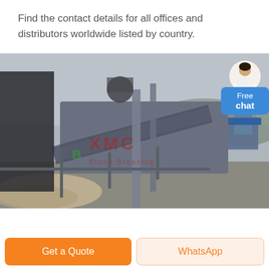Find the contact details for all offices and distributors worldwide listed by country.
[Figure (photo): Industrial machinery/mining equipment facility photo with XME branding watermark. Shows heavy industrial equipment, conveyors, and structures at a mining or quarrying site with hills in the background. A 'Free chat' button overlay with a customer service representative icon appears in the top right corner.]
Get a Quote
WhatsApp